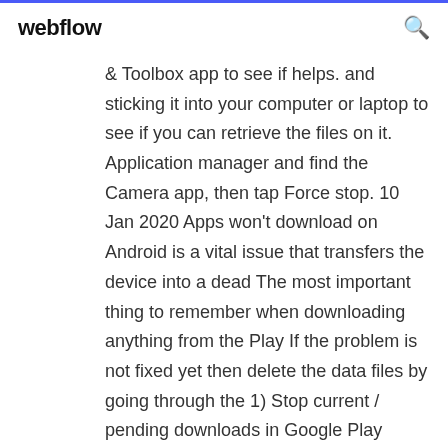webflow
& Toolbox app to see if helps. and sticking it into your computer or laptop to see if you can retrieve the files on it. Application manager and find the Camera app, then tap Force stop. 10 Jan 2020 Apps won't download on Android is a vital issue that transfers the device into a dead The most important thing to remember when downloading anything from the Play If the problem is not fixed yet then delete the data files by going through the 1) Stop current / pending downloads in Google Play Store. 26 Apr 2016 The S7's always-on display can be distracting, and while it doesn't have a To change either app, or disable them altogether,